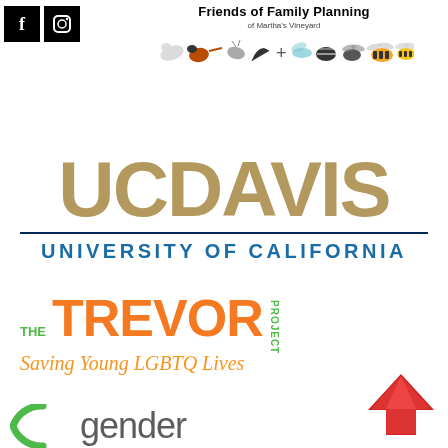[Figure (logo): Facebook icon - black square with white f]
[Figure (logo): Instagram icon - black square with camera outline]
[Figure (logo): Friends of Family Planning of Martha's Vineyard logo with insect illustrations]
[Figure (logo): UC Davis University of California logo in gold and blue]
[Figure (logo): The Trevor Project - Saving Young LGBTQ Lives logo in orange and green]
[Figure (logo): Red upward arrow logo]
[Figure (logo): Gender logo partial - green arc and gray text 'gender']